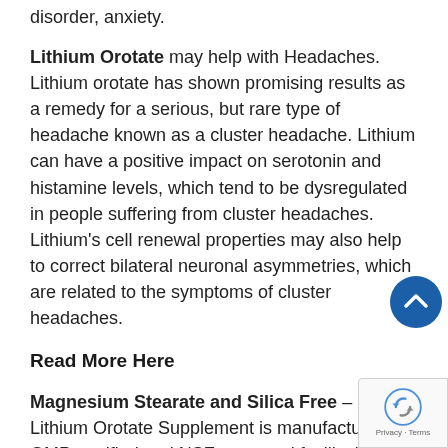disorder, anxiety.
Lithium Orotate may help with Headaches. Lithium orotate has shown promising results as a remedy for a serious, but rare type of headache known as a cluster headache. Lithium can have a positive impact on serotonin and histamine levels, which tend to be dysregulated in people suffering from cluster headaches. Lithium’s cell renewal properties may also help to correct bilateral neuronal asymmetries, which are related to the symptoms of cluster headaches.
Read More Here
Magnesium Stearate and Silica Free – Our Lithium Orotate Supplement is manufactured in GMP certified and NSF approved facility in the USA. To ensure that you are getting high-quality Elemental Lithium mineral, each batch is tested for purity and quality before and after manufacturing. AgeImmune’s Lithium Orotate DOES NOT contain dairy, gluten, wheat, corn, soy, yeast, shellfish and preservatives. Each lot is tested for heavy